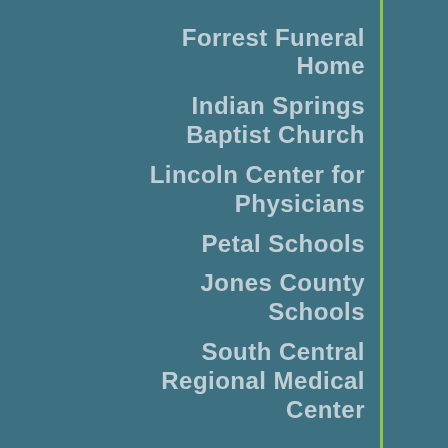Forrest Funeral Home
Indian Springs Baptist Church
Lincoln Center for Physicians
Petal Schools
Jones County Schools
South Central Regional Medical Center